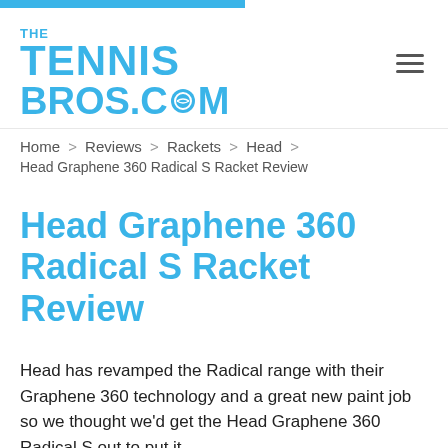THE TENNIS BROS.COM
Home > Reviews > Rackets > Head >
Head Graphene 360 Radical S Racket Review
Head Graphene 360 Radical S Racket Review
Head has revamped the Radical range with their Graphene 360 technology and a great new paint job so we thought we'd get the Head Graphene 360 Radical S out to put it